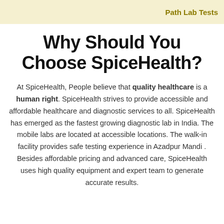Path Lab Tests
Why Should You Choose SpiceHealth?
At SpiceHealth, People believe that quality healthcare is a human right. SpiceHealth strives to provide accessible and affordable healthcare and diagnostic services to all. SpiceHealth has emerged as the fastest growing diagnostic lab in India. The mobile labs are located at accessible locations. The walk-in facility provides safe testing experience in Azadpur Mandi . Besides affordable pricing and advanced care, SpiceHealth uses high quality equipment and expert team to generate accurate results.